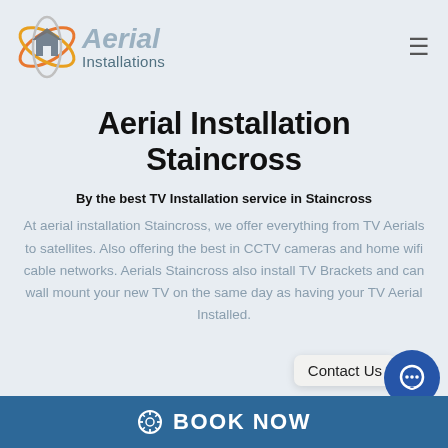[Figure (logo): Aerial Installations logo with circular orbital graphic around a house icon, text 'Aerial Installations']
Aerial Installation Staincross
By the best TV Installation service in Staincross
At aerial installation Staincross, we offer everything from TV Aerials to satellites. Also offering the best in CCTV cameras and home wifi cable networks. Aerials Staincross also install TV Brackets and can wall mount your new TV on the same day as having your TV Aerial Installed.
Contact Us
BOOK NOW